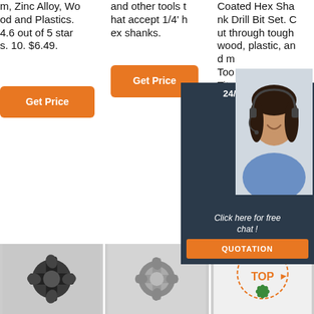m, Zinc Alloy, Wood and Plastics. 4.6 out of 5 stars. 10. $6.49.
Get Price
and other tools that accept 1/4' hex shanks.
Get Price
Coated Hex Shank Drill Bit Set. Cut through tough wood, plastic, and m Too Tita Hex Bit S
24/7 Online
Click here for free chat !
QUOTATION
G
[Figure (photo): Close-up of a dark metal drill bit or cross-shaped drill tool, black and white style]
[Figure (photo): Close-up of a metallic drill bit or boring tool, grey tones]
[Figure (photo): Green drill bits arranged in a snowflake/star pattern with TOP logo in orange]